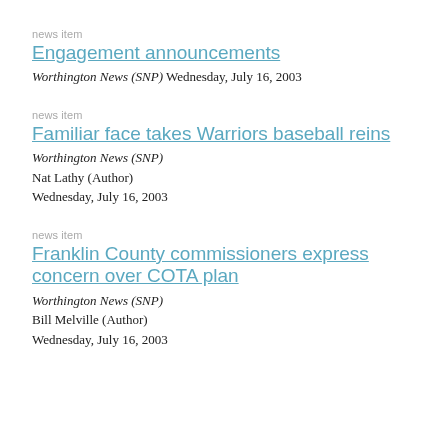news item
Engagement announcements
Worthington News (SNP) Wednesday, July 16, 2003
news item
Familiar face takes Warriors baseball reins
Worthington News (SNP)
Nat Lathy (Author)
Wednesday, July 16, 2003
news item
Franklin County commissioners express concern over COTA plan
Worthington News (SNP)
Bill Melville (Author)
Wednesday, July 16, 2003